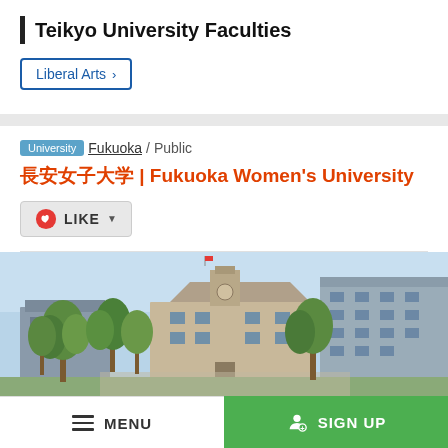Teikyo University Faculties
Liberal Arts >
University  Fukuoka / Public
福岡女子大学 | Fukuoka Women's University
LIKE
[Figure (photo): Campus photo of Fukuoka Women's University showing buildings surrounded by green trees under a blue sky]
MENU  SIGN UP